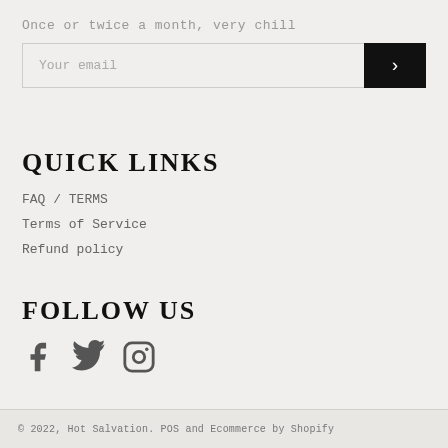Once or twice a month, very chill
Your email
QUICK LINKS
FAQ / TERMS
Terms of Service
Refund policy
FOLLOW US
[Figure (other): Social media icons: Facebook, Twitter, Instagram]
© 2022, Hot Salvation. POS and Ecommerce by Shopify